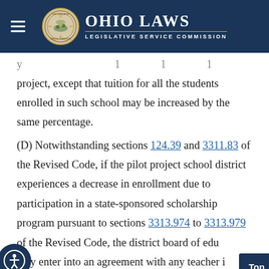Ohio Laws Legislative Service Commission
project, except that tuition for all the students enrolled in such school may be increased by the same percentage.
(D) Notwithstanding sections 124.39 and 3311.83 of the Revised Code, if the pilot project school district experiences a decrease in enrollment due to participation in a state-sponsored scholarship program pursuant to sections 3313.974 to 3313.979 of the Revised Code, the district board of education may enter into an agreement with any teacher if